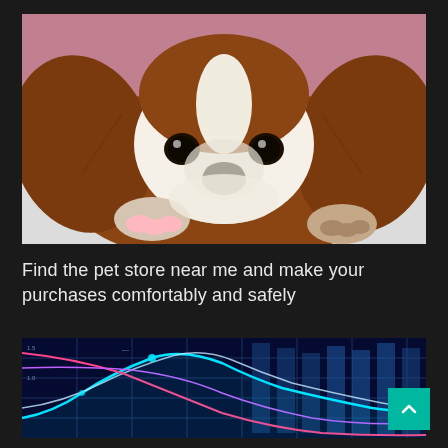[Figure (photo): Close-up photo of a Cavalier King Charles Spaniel puppy with brown and white fur, resting its chin and paws on a white surface, looking at the camera with dark eyes. Pink blurred background.]
Find the pet store near me and make your purchases comfortably and safely
[Figure (photo): Financial/stock market chart with glowing blue and purple lines, grid lines, and candlestick bars on a dark blue background. Partially visible, cropped at bottom of page.]